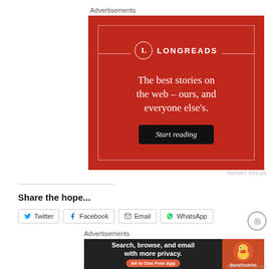Advertisements
[Figure (illustration): Longreads advertisement on red background with tagline 'The best stories on the web – ours, and everyone else's.' and a 'Start reading' button]
REPORT THIS AD
Share the hope...
Twitter  Facebook  Email  WhatsApp
Advertisements
[Figure (illustration): DuckDuckGo advertisement: 'Search, browse, and email with more privacy. All in One Free App' with DuckDuckGo logo/duck icon]
REPORT THIS AD